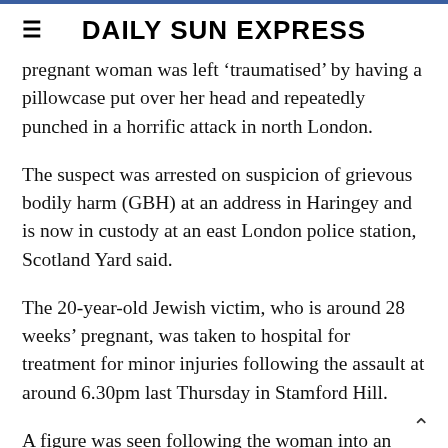DAILY SUN EXPRESS
pregnant woman was left ‘traumatised’ by having a pillowcase put over her head and repeatedly punched in a horrific attack in north London.
The suspect was arrested on suspicion of grievous bodily harm (GBH) at an address in Haringey and is now in custody at an east London police station, Scotland Yard said.
The 20-year-old Jewish victim, who is around 28 weeks’ pregnant, was taken to hospital for treatment for minor injuries following the assault at around 6.30pm last Thursday in Stamford Hill.
A figure was seen following the woman into an